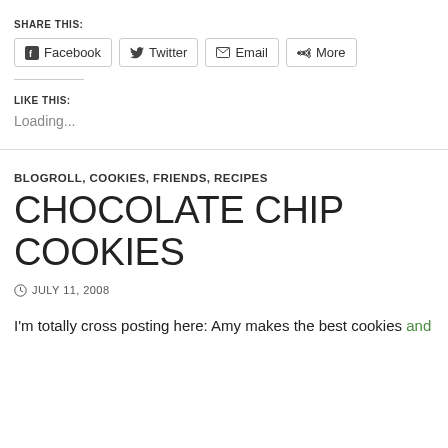SHARE THIS:
[Figure (screenshot): Social share buttons: Facebook, Twitter, Email, More]
LIKE THIS:
Loading...
BLOGROLL, COOKIES, FRIENDS, RECIPES
CHOCOLATE CHIP COOKIES
JULY 11, 2008
I'm totally cross posting here: Amy makes the best cookies and